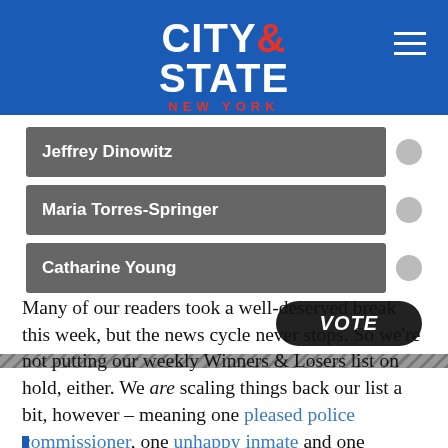CITY & STATE NEW YORK
[Figure (other): Online poll widget showing three candidates: Jeffrey Dinowitz, Maria Torres-Springer, Catharine Young with radio buttons and a VOTE button]
Many of our readers took a well-deserved break this week, but the news cycle never stops. So we're not putting our weekly Winners & Losers list on hold, either. We are scaling things back our list a bit, however – meaning one pleased police commissioner, one unhappy inmate and one Scrooge-like city councilman didn't quite make the cut. Bah! Humbug!